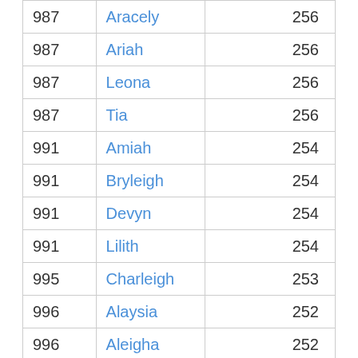| 987 | Aracely | 256 |
| 987 | Ariah | 256 |
| 987 | Leona | 256 |
| 987 | Tia | 256 |
| 991 | Amiah | 254 |
| 991 | Bryleigh | 254 |
| 991 | Devyn | 254 |
| 991 | Lilith | 254 |
| 995 | Charleigh | 253 |
| 996 | Alaysia | 252 |
| 996 | Aleigha | 252 |